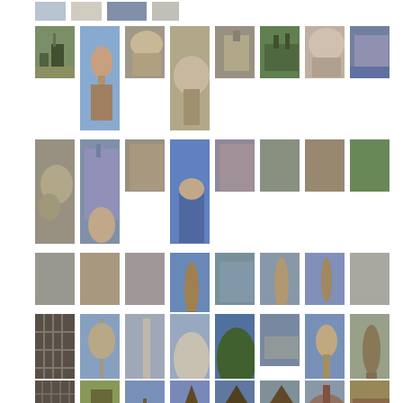[Figure (photo): Grid of travel/tourist photographs showing churches, sculptures, stone carvings, statues, and wooden architecture, arranged in 6 rows of photo thumbnails]
[Figure (photo): Row 1 partial: architectural photos of cathedral/city, blue sculpture, gothic arch details]
[Figure (photo): Row 2: church building, sculpture figure against sky, stone architectural details, cathedral exterior, park/garden view, stone arch with figure, mountain/landscape]
[Figure (photo): Row 3: stone relief carvings, cathedral facade, carved portal, person looking up at blue sky, stone texture details]
[Figure (photo): Row 4: stone/rock texture closeups, bronze running figure statue, group sculpture memorial, person near sculpture, running figure statue, iron gate/fence]
[Figure (photo): Row 5: iron gate, column with figures, stone group sculpture, monolith detail, ornamental tree, castle/fortress, tree with figures, bronze figure]
[Figure (photo): Row 6: iron lattice gate, building exterior, Viking ship replica, wooden stave church, stave church spire, wooden church building, round wooden structure, timber building]